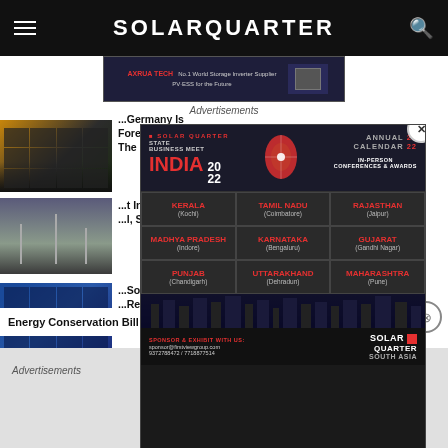SOLARQUARTER
[Figure (screenshot): Banner advertisement for AXRUA TECH - No.1 World Storage Inverter Supplier, PV-ESS for the Future]
Advertisements
...Germany Is Forecasted To Increase At 1.8 GW By The End Of 2022: Report
[Figure (photo): Solar panels at sunset]
...t India's ...l, Says
[Figure (photo): Wind turbines]
...Solar ...Report
[Figure (photo): Solar panels close-up]
[Figure (screenshot): Solar Quarter State Business Meet India 2022 advertisement overlay showing Annual Calendar 2022, In-Person Conferences & Awards. States: Kerala (Kochi), Tamil Nadu (Coimbatore), Rajasthan (Jaipur), Madhya Pradesh (Indore), Karnataka (Bengaluru), Gujarat (Gandhi Nagar), Punjab (Chandigarh), Uttarakhand (Dehradun), Maharashtra (Pune). Sponsor & Exhibit: sponsor@firstviewgroup.com, 9372788472/7718877614. Solar Quarter South Asia.]
Energy Conservation Bill Amendments ...
Advertisements